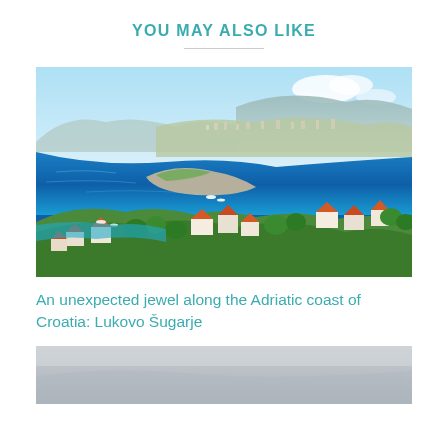YOU MAY ALSO LIKE
[Figure (photo): Aerial/elevated view of a Croatian coastal town along the Adriatic Sea. The image shows deep blue sea water, a curved bay, hillside buildings with orange/red roofs, green vegetation, rocky coastline, and mountains in the hazy background under a bright blue sky.]
An unexpected jewel along the Adriatic coast of Croatia: Lukovo Šugarje
[Figure (photo): Partial photo of a grey/silver coastal scene, partially visible at the bottom of the page.]